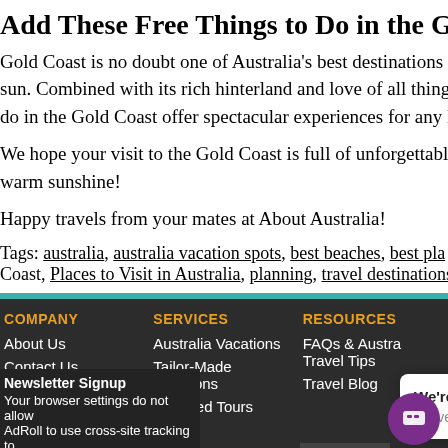Add These Free Things to Do in the Gold Coast to
Gold Coast is no doubt one of Australia's best destinations for e sun. Combined with its rich hinterland and love of all things loca do in the Gold Coast offer spectacular experiences for any kind
We hope your visit to the Gold Coast is full of unforgettable me warm sunshine!
Happy travels from your mates at About Australia!
Tags: australia, australia vacation spots, best beaches, best pla Coast, Places to Visit in Australia, planning, travel destinations,
COMPANY | About Us | Contact Us | Reviews | SERVICES | Australia Vacations | Tailor-Made Vacations | Escorted Tours | RESOURCES | FAQs & Austra Travel Tips | Travel Blog